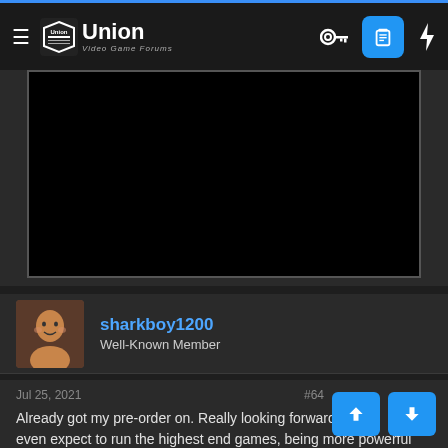Union Video Game Forums
[Figure (screenshot): Black video embed area]
sharkboy1200
Well-Known Member
Jul 25, 2021
Already got my pre-order on. Really looking forward t... I even expect to run the highest end games, being more powerful